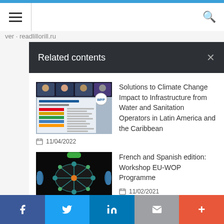[Figure (screenshot): Website navigation bar with hamburger menu icon and search icon]
Related contents
[Figure (screenshot): Thumbnail image of a video conference/presentation about water and sanitation in Latin America]
Solutions to Climate Change Impact to Infrastructure from Water and Sanitation Operators in Latin America and the Caribbean
11/04/2022
[Figure (photo): Overhead view of people working together around a table with a board game or network diagram]
French and Spanish edition: Workshop EU-WOP Programme
11/02/2021
[Figure (screenshot): Social media share bar with Facebook, Twitter, LinkedIn, Email, and More buttons]